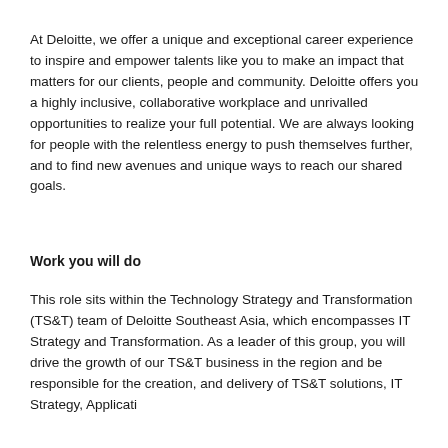At Deloitte, we offer a unique and exceptional career experience to inspire and empower talents like you to make an impact that matters for our clients, people and community. Deloitte offers you a highly inclusive, collaborative workplace and unrivalled opportunities to realize your full potential. We are always looking for people with the relentless energy to push themselves further, and to find new avenues and unique ways to reach our shared goals.
Work you will do
This role sits within the Technology Strategy and Transformation (TS&T) team of Deloitte Southeast Asia, which encompasses IT Strategy and Transformation. As a leader of this group, you will drive the growth of our TS&T business in the region and be responsible for the creation, and and delivery of TS&T solutions, IT Strategy, Application...